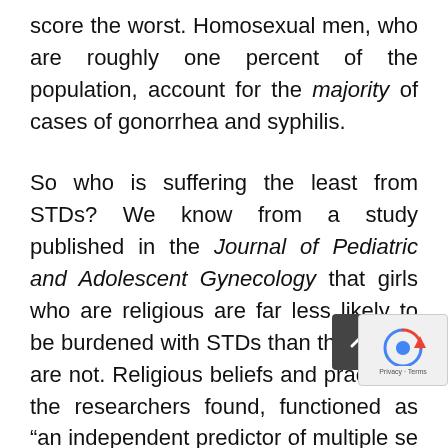score the worst. Homosexual men, who are roughly one percent of the population, account for the majority of cases of gonorrhea and syphilis.
So who is suffering the least from STDs? We know from a study published in the Journal of Pediatric and Adolescent Gynecology that girls who are religious are far less likely to be burdened with STDs than those who are not. Religious beliefs and practices, the researchers found, functioned as “an independent predictor of multiple se behaviors directly linked to important